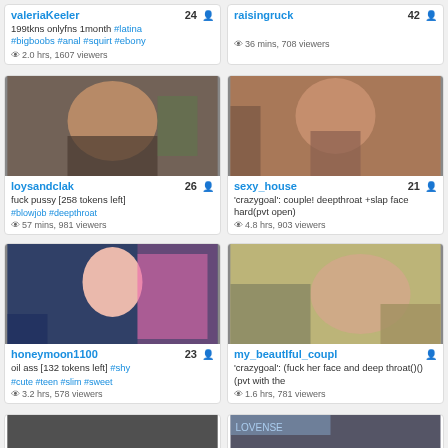valeriaKeeler 24 — 199tkns onlyfns 1month #latina #bigboobs #anal #squirt #ebony — 2.0 hrs, 1607 viewers
raisingruck 42 — 36 mins, 708 viewers
[Figure (photo): Webcam thumbnail of loysandclak]
loysandclak 26 — fuck pussy [258 tokens left] #blowjob #deepthroat — 57 mins, 981 viewers
[Figure (photo): Webcam thumbnail of sexy_house]
sexy_house 21 — 'crazygoal': couple! deepthroat +slap face hard(pvt open) — 4.8 hrs, 903 viewers
[Figure (photo): Webcam thumbnail of honeymoon1100]
honeymoon1100 23 — oil ass [132 tokens left] #shy #cute #teen #slim #sweet — 3.2 hrs, 578 viewers
[Figure (photo): Webcam thumbnail of my_beautIful_coupl]
my_beautIful_coupl — 'crazygoal': (fuck her face and deep throat()()(pvt with the — 1.6 hrs, 781 viewers